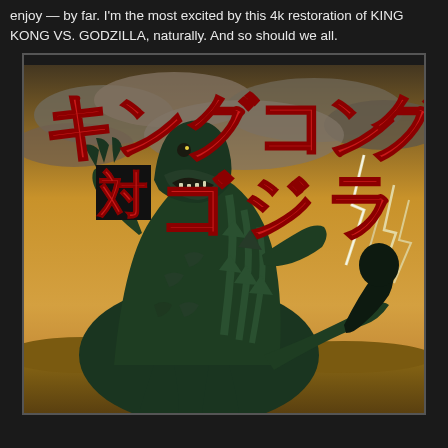enjoy — by far. I'm the most excited by this 4k restoration of KING KONG VS. GODZILLA, naturally. And so should we all.
[Figure (photo): Japanese movie poster for King Kong vs. Godzilla (キングコング対ゴジラ) showing large red Japanese katakana title text at the top and Godzilla monster silhouette in the foreground with lightning bolts in the background sky]